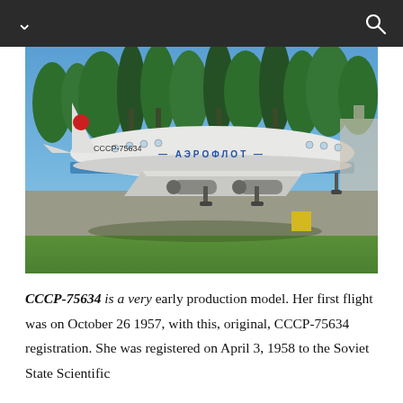[Figure (photo): A vintage Soviet Aeroflot turboprop airliner (CCCP-75634) parked on a tarmac in an outdoor display area, surrounded by trees under a clear blue sky. The white aircraft bears Aeroflot livery with a blue stripe and the registration CCCP-75634 on the fuselage.]
CCCP-75634 is a very early production model. Her first flight was on October 26 1957, with this, original, CCCP-75634 registration. She was registered on April 3, 1958 to the Soviet State Scientific